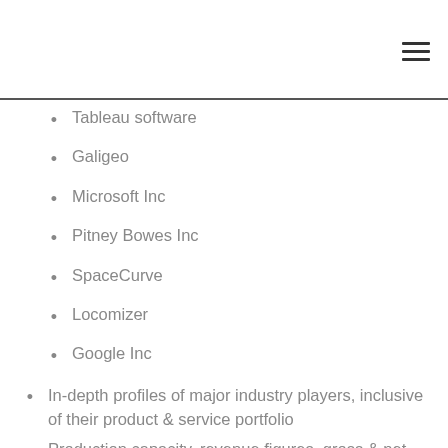≡
Tableau software
Galigeo
Microsoft Inc
Pitney Bowes Inc
SpaceCurve
Locomizer
Google Inc
In-depth profiles of major industry players, inclusive of their product & service portfolio
Production capacity, revenue figures, gross & net margins, pricing models, and other pivotal metrics of